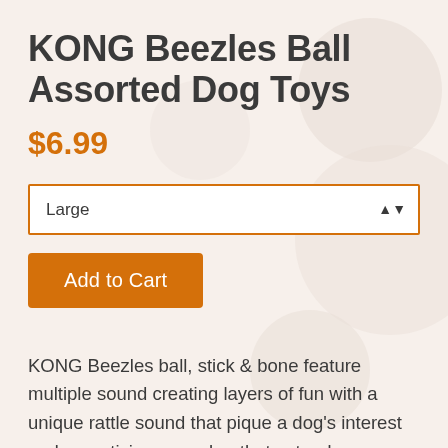KONG Beezles Ball Assorted Dog Toys
$6.99
Large
Add to Cart
KONG Beezles ball, stick & bone feature multiple sound creating layers of fun with a unique rattle sound that pique a dog's interest and an enticing squeaker that extends interactiveplaytime. This double dose of instinct-igniting allure keeps dogs fetching for on-going fun. The playful shape provides on-going